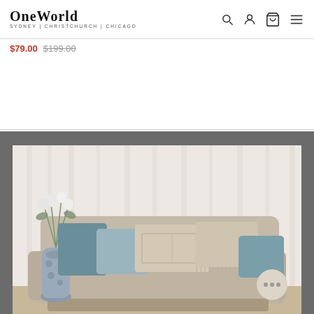One World — Sydney | Christchurch | Chicago
$79.00  $199.00
[Figure (photo): A beige sofa with decorative blue-grey and cream cushions, a blue-and-white floral vase with white flowers on the left, white sheer curtains in the background, shown in a styled interior setting. A chat bubble button is visible in the bottom-right of the image.]